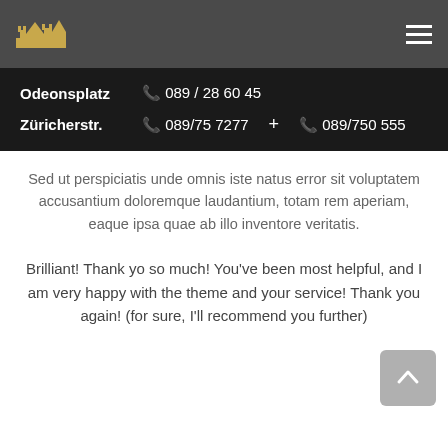[Figure (logo): Golden building/castle silhouette logo on dark gray navigation bar with hamburger menu icon]
Odeonsplatz  📞 089 / 28 60 45
Züricherstr.  📞 089/75 7277  +  📞 089/750 555
Sed ut perspiciatis unde omnis iste natus error sit voluptatem accusantium doloremque laudantium, totam rem aperiam, eaque ipsa quae ab illo inventore veritatis.
Brilliant! Thank yo so much! You've been most helpful, and I am very happy with the theme and your service! Thank you again! (for sure, I'll recommend you further)